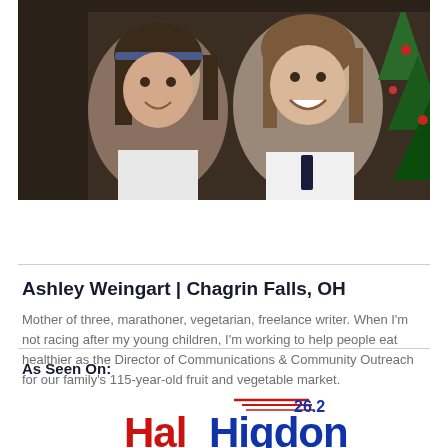[Figure (photo): Photo of two young girls smiling, dressed in white shirts with a Christmas tree in the background]
Ashley Weingart | Chagrin Falls, OH
Mother of three, marathoner, vegetarian, freelance writer. When I'm not racing after my young children, I'm working to help people eat healthier as the Director of Communications & Community Outreach for our family's 115-year-old fruit and vegetable market.
As Seen On:
[Figure (logo): Hal Higdon 26.2 marathon training logo with red and blue text and speed lines]